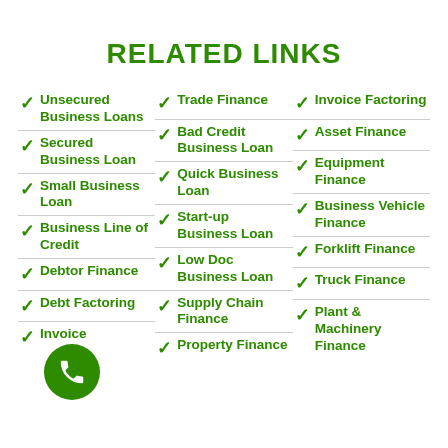RELATED LINKS
Unsecured Business Loans
Secured Business Loan
Small Business Loan
Business Line of Credit
Debtor Finance
Debt Factoring
Invoice
Trade Finance
Bad Credit Business Loan
Quick Business Loan
Start-up Business Loan
Low Doc Business Loan
Supply Chain Finance
Property Finance
Invoice Factoring
Asset Finance
Equipment Finance
Business Vehicle Finance
Forklift Finance
Truck Finance
Plant & Machinery Finance